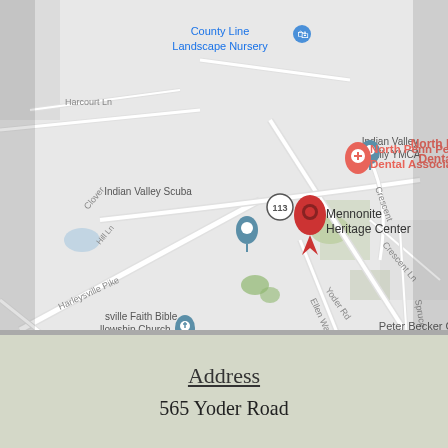[Figure (map): Google Maps screenshot showing the area around Mennonite Heritage Center at 565 Yoder Road. The map shows nearby landmarks including County Line Landscape Nursery, Indian Valley Family YMCA, North Penn Pediatric Dental Associates, Indian Valley Scuba, sville Faith Bible llowship Church, Peter Becker Community, Indian Valley Middle School, Indian Valley Faith Fellowship, and oneoffnet. Roads shown include Harcourt Ln, Clover Hill Ln, Harleysville Pike, Yoder Rd, Ellen Way, Spruce Ln, Laurel Ln, Crescent Ln, and route 113. The Mennonite Heritage Center is marked with a red pin.]
Address
565 Yoder Road